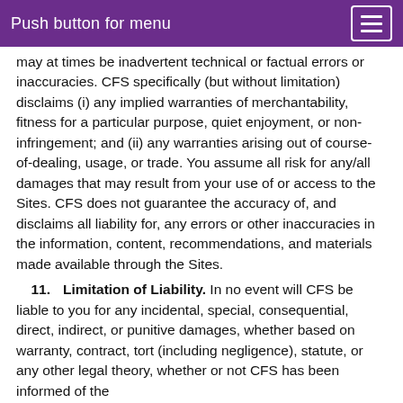Push button for menu
may at times be inadvertent technical or factual errors or inaccuracies. CFS specifically (but without limitation) disclaims (i) any implied warranties of merchantability, fitness for a particular purpose, quiet enjoyment, or non-infringement; and (ii) any warranties arising out of course-of-dealing, usage, or trade. You assume all risk for any/all damages that may result from your use of or access to the Sites. CFS does not guarantee the accuracy of, and disclaims all liability for, any errors or other inaccuracies in the information, content, recommendations, and materials made available through the Sites.
11. Limitation of Liability. In no event will CFS be liable to you for any incidental, special, consequential, direct, indirect, or punitive damages, whether based on warranty, contract, tort (including negligence), statute, or any other legal theory, whether or not CFS has been informed of the possibility of such damages. Some states do not allow the